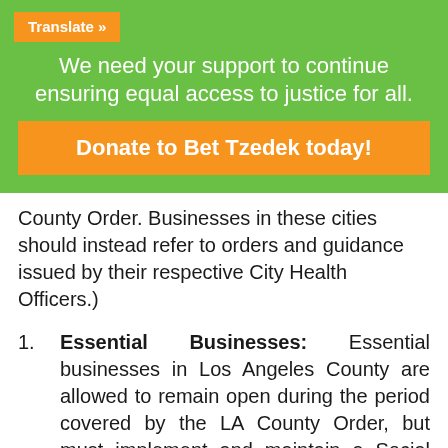Translate »
We need your support to continue ensuring equal access to justice for all.
Donate to Bet Tzedek today!
County Order. Businesses in these cities should instead refer to orders and guidance issued by their respective City Health Officers.)
1. Essential Businesses: Essential businesses in Los Angeles County are allowed to remain open during the period covered by the LA County Order, but must implement and maintain a Social Distancing Protocol, which can be found here (non-essential businesses must follow separate